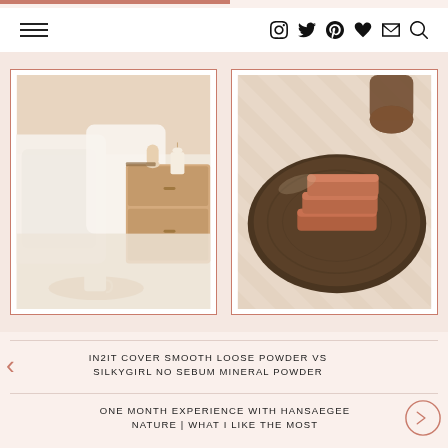Navigation header with hamburger menu and social icons: Instagram, Twitter, Pinterest, Heart, Mail, Search
[Figure (photo): Two photos side by side in thin terracotta-colored frames on a blush background. Left: cozy bedroom scene with white pillows, wooden nightstand, candle, and coffee tray. Right: terracotta soap bars on a dark wooden round tray with striped shadow.]
IN2IT COVER SMOOTH LOOSE POWDER VS SILKYGIRL NO SEBUM MINERAL POWDER
ONE MONTH EXPERIENCE WITH HANSAEGEE NATURE | WHAT I LIKE THE MOST